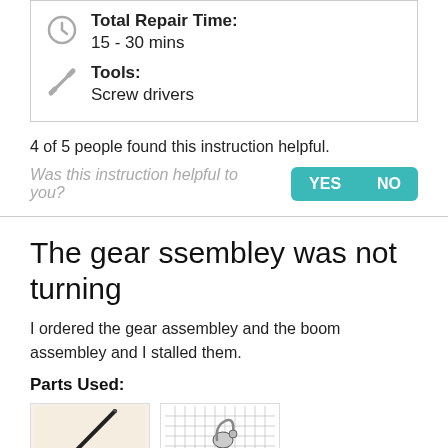Total Repair Time:
15 - 30 mins
Tools:
Screw drivers
4 of 5 people found this instruction helpful.
Was this instruction helpful to you?
The gear ssembley was not turning
I ordered the gear assembley and the boom assembley and I stalled them.
Parts Used:
[Figure (photo): A thin dark rod or boom part against a light background]
[Figure (photo): A gear or elbow assembly part on a grid background]